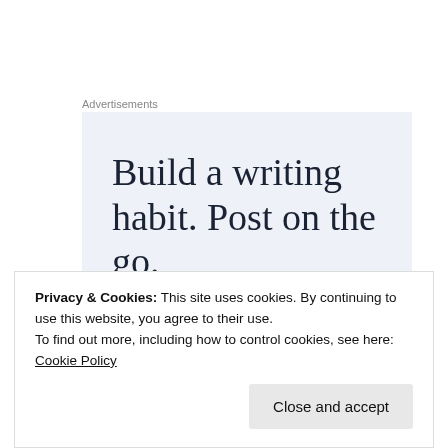Advertisements
[Figure (other): Advertisement banner with light blue-grey background showing the text 'Build a writing habit. Post on the go.' in large serif font]
I believe our work really matters, and so it seems to hundreds of others who registered their support yesterday
Privacy & Cookies: This site uses cookies. By continuing to use this website, you agree to their use.
To find out more, including how to control cookies, see here: Cookie Policy
Close and accept